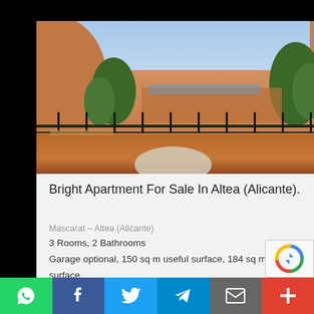[Figure (photo): Rooftop terrace view of an apartment complex in Altea, Alicante. Shows terrace with railings, trees, warm orange/terracotta building walls, and a blue sky background. A round table is visible on the terrace.]
Bright Apartment For Sale In Altea (Alicante).
Mascarat – Altea (Alicante)
3 Rooms, 2 Bathrooms
Garage optional, 150 sq m useful surface, 184 sq m built surface
350,000 €